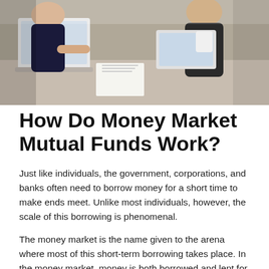[Figure (photo): Business people in an office setting, viewed from above/angle, working with laptops and documents. Two or more professionals in business attire.]
How Do Money Market Mutual Funds Work?
Just like individuals, the government, corporations, and banks often need to borrow money for a short time to make ends meet. Unlike most individuals, however, the scale of this borrowing is phenomenal.
The money market is the name given to the arena where most of this short-term borrowing takes place. In the money market, money is both borrowed and lent for short periods of time.
For example, a bank might have to borrow millions of dollars overnight to ensure that it meets federal reserve requirements. Loans in the money market can